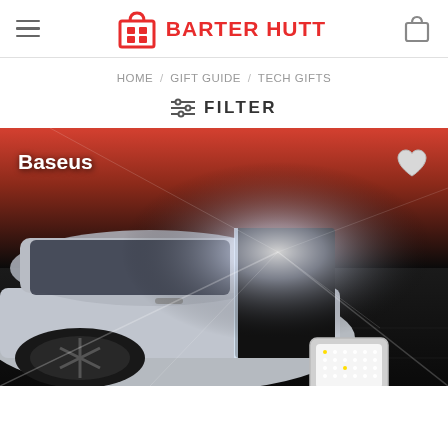BARTER HUTT
HOME / GIFT GUIDE / TECH GIFTS
FILTER
[Figure (photo): Product photo of a car with door open and bright LED light emanating from door area, with a small LED light device visible at bottom right. Brand label 'Baseus' shown in white text. Heart/wishlist icon in upper right.]